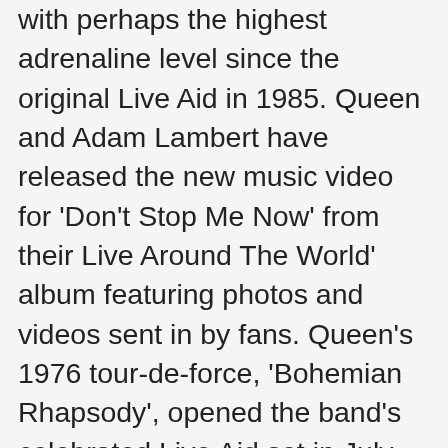with perhaps the highest adrenaline level since the original Live Aid in 1985. Queen and Adam Lambert have released the new music video for 'Don't Stop Me Now' from their Live Around The World' album featuring photos and videos sent in by fans. Queen's 1976 tour-de-force, 'Bohemian Rhapsody', opened the band's celebrated Live Aid set in July 1985. Brian May says Queen had no idea how "epoch-making" their iconic Live Aid set would be. Reviews There are no reviews yet. 5.0 out of 5 stars 3. Check it out below. Requested "Of the world", was not removed from We Are The Champions. Queen Love of My Life. Live performance is a different story. Tags: ... queen, dont stop me now, mister fahrenheit, fahrenheit, mr, freddie mercury. The entire Firefight Australia set where they recreate Queen's 1985 Live Aid performance line-up is included. Check it out below. Shaun of the Dead 2003. ♪ Ay-Oh – Live Aid – Queen The move to include Queen's music arrives after Sony secured a massive deal with the streaming platform. As for the actual recorded material, there is a mixture of familiar studio tracks interspersed with rare live recordings (such as the Live Aid